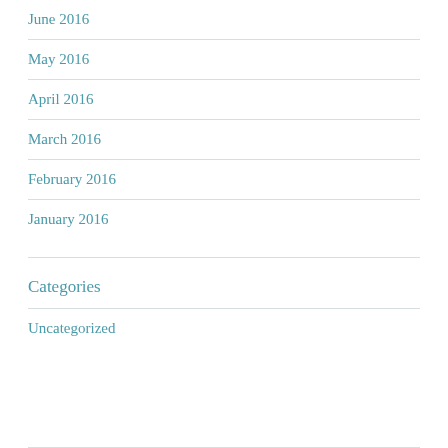June 2016
May 2016
April 2016
March 2016
February 2016
January 2016
Categories
Uncategorized